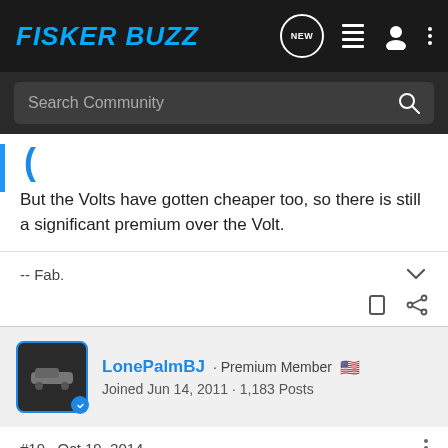FISKER BUZZ
Search Community
But the Volts have gotten cheaper too, so there is still a significant premium over the Volt.
-- Fab.
LonePalmBJ · Premium Member
Joined Jun 14, 2011 · 1,183 Posts
#19 · Oct 19, 2014